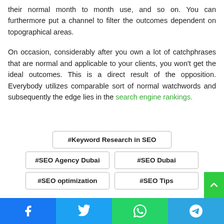their normal month to month use, and so on. You can furthermore put a channel to filter the outcomes dependent on topographical areas.
On occasion, considerably after you own a lot of catchphrases that are normal and applicable to your clients, you won't get the ideal outcomes. This is a direct result of the opposition. Everybody utilizes comparable sort of normal watchwords and subsequently the edge lies in the search engine rankings.
#Keyword Research in SEO
#SEO Agency Dubai
#SEO Dubai
#SEO optimization
#SEO Tips